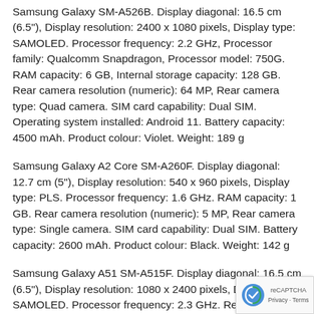Samsung Galaxy SM-A526B. Display diagonal: 16.5 cm (6.5"), Display resolution: 2400 x 1080 pixels, Display type: SAMOLED. Processor frequency: 2.2 GHz, Processor family: Qualcomm Snapdragon, Processor model: 750G. RAM capacity: 6 GB, Internal storage capacity: 128 GB. Rear camera resolution (numeric): 64 MP, Rear camera type: Quad camera. SIM card capability: Dual SIM. Operating system installed: Android 11. Battery capacity: 4500 mAh. Product colour: Violet. Weight: 189 g
Samsung Galaxy A2 Core SM-A260F. Display diagonal: 12.7 cm (5"), Display resolution: 540 x 960 pixels, Display type: PLS. Processor frequency: 1.6 GHz. RAM capacity: 1 GB. Rear camera resolution (numeric): 5 MP, Rear camera type: Single camera. SIM card capability: Dual SIM. Battery capacity: 2600 mAh. Product colour: Black. Weight: 142 g
Samsung Galaxy A51 SM-A515F. Display diagonal: 16.5 cm (6.5"), Display resolution: 1080 x 2400 pixels, Display type: SAMOLED. Processor frequency: 2.3 GHz. Rear camera resolution (numeric): 48 MP, Rear camera type: Quad camera.